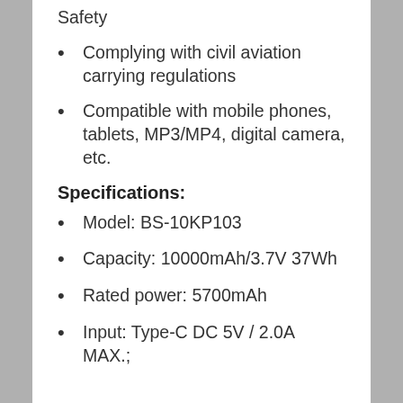Safety
Complying with civil aviation carrying regulations
Compatible with mobile phones, tablets, MP3/MP4, digital camera, etc.
Specifications:
Model: BS-10KP103
Capacity: 10000mAh/3.7V 37Wh
Rated power: 5700mAh
Input: Type-C DC 5V / 2.0A MAX.;